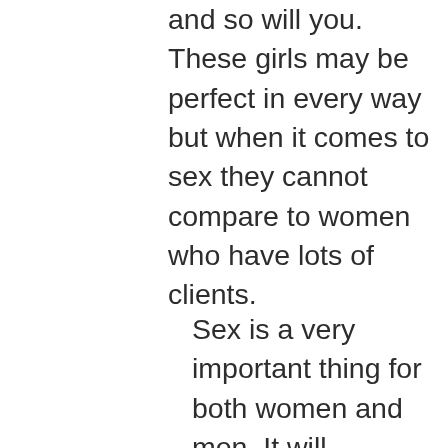and so will you. These girls may be perfect in every way but when it comes to sex they cannot compare to women who have lots of clients.
Sex is a very important thing for both women and men. It will